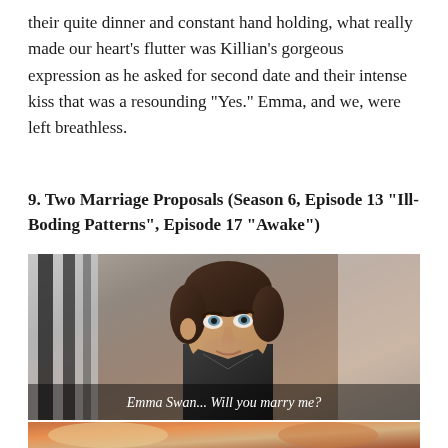their quite dinner and constant hand holding, what really made our heart's flutter was Killian's gorgeous expression as he asked for second date and their intense kiss that was a resounding "Yes." Emma, and we, were left breathless.
9. Two Marriage Proposals (Season 6, Episode 13 “Ill-Boding Patterns”, Episode 17 “Awake”)
[Figure (photo): A man in a dark leather jacket looking upward with a hopeful expression. A subtitle reads: 'Emma Swan... Will you marry me?']
[Figure (photo): Partial view of a second scene, showing colorful background with blurred figures, beginning of another image.]